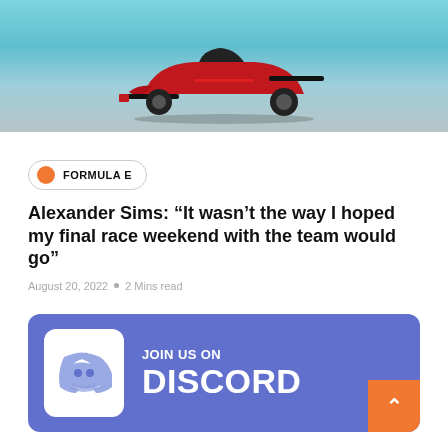[Figure (photo): Formula E red racing car on a circuit with blue barriers in the background]
FORMULA E
Alexander Sims: “It wasn’t the way I hoped my final race weekend with the team would go”
August 20, 2022  •  2 Mins read
[Figure (infographic): Discord promotional banner with Discord logo and text JOIN US ON DISCORD on a purple/blue background]